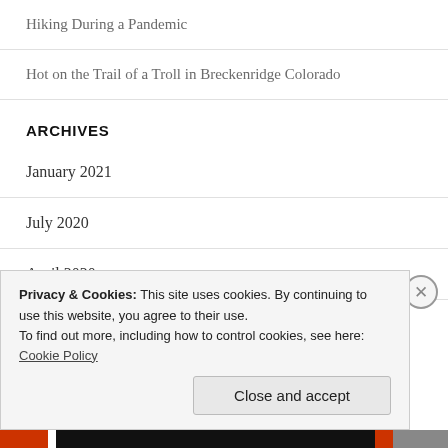Hiking During a Pandemic
Hot on the Trail of a Troll in Breckenridge Colorado
ARCHIVES
January 2021
July 2020
April 2020
Privacy & Cookies: This site uses cookies. By continuing to use this website, you agree to their use.
To find out more, including how to control cookies, see here: Cookie Policy
Close and accept